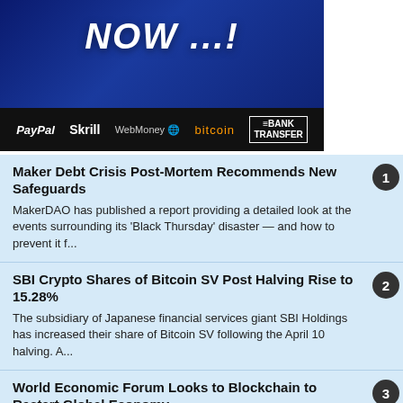[Figure (screenshot): Dark blue banner advertisement showing 'NOW ...!' text with payment method logos: PayPal, Skrill, WebMoney, bitcoin, BANK TRANSFER on a black bar at the bottom]
1. Maker Debt Crisis Post-Mortem Recommends New Safeguards — MakerDAO has published a report providing a detailed look at the events surrounding its 'Black Thursday' disaster — and how to prevent it f...
2. SBI Crypto Shares of Bitcoin SV Post Halving Rise to 15.28% — The subsidiary of Japanese financial services giant SBI Holdings has increased their share of Bitcoin SV following the April 10 halving. A...
3. World Economic Forum Looks to Blockchain to Restart Global Economy — The World Economic Forum believes DLT supply chain solutions can help reboot the global economy, launching a blockchain deployment kit. Th...
4. DLive Joins BitTorrent Ecosystem to Make Blockchain-Based Content Sharing Mainstream — DLive joins BitTorrent ecosystem to bring blockchain-based content sharing to 100 million monthly active users. Peer-to-peer filesharing g...